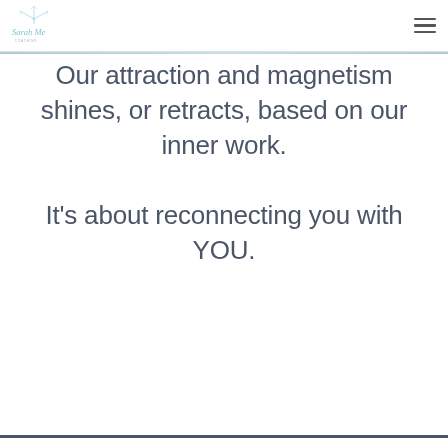Sarah Me [logo] [hamburger menu]
Our attraction and magnetism shines, or retracts, based on our inner work. It's about reconnecting you with YOU.